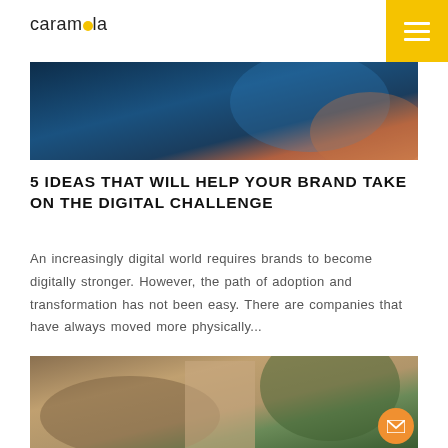carambola
[Figure (photo): Dark blue/teal photo strip, appears to show a digital device scene]
5 IDEAS THAT WILL HELP YOUR BRAND TAKE ON THE DIGITAL CHALLENGE
An increasingly digital world requires brands to become digitally stronger. However, the path of adoption and transformation has not been easy. There are companies that have always moved more physically...
[Figure (photo): Woman with a patterned bag in an outdoor rocky/nature setting]